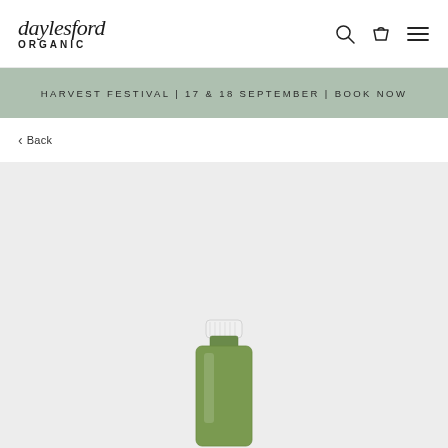daylesford ORGANIC
Harvest Festival | 17 & 18 September | Book Now
< Back
[Figure (photo): Green juice/smoothie bottle with white cap partially visible at bottom of product image area on light grey background]